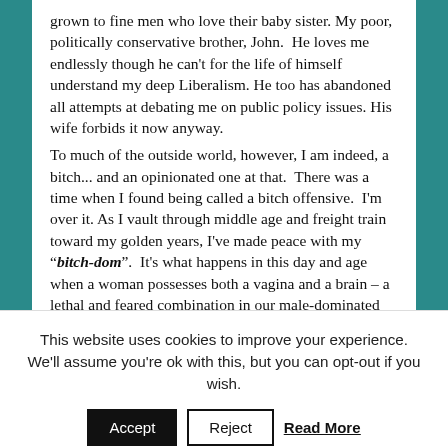grown to fine men who love their baby sister. My poor, politically conservative brother, John.  He loves me endlessly though he can't for the life of himself understand my deep Liberalism. He too has abandoned all attempts at debating me on public policy issues. His wife forbids it now anyway.
To much of the outside world, however, I am indeed, a bitch... and an opinionated one at that.  There was a time when I found being called a bitch offensive.  I'm over it. As I vault through middle age and freight train toward my golden years, I've made peace with my "bitch-dom".  It's what happens in this day and age when a woman possesses both a vagina and a brain – a lethal and feared combination in our male-dominated
This website uses cookies to improve your experience. We'll assume you're ok with this, but you can opt-out if you wish.
Accept  Reject  Read More